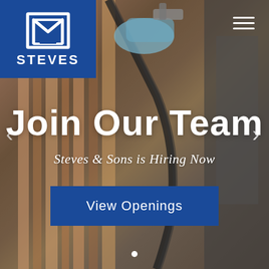[Figure (photo): Background photo of a worker's gloved hand holding a spray gun/paint gun in what appears to be a manufacturing or woodworking facility with wooden panels visible]
[Figure (logo): Steves & Sons company logo — white stylized 'M' or building icon on blue square background with 'STEVES' text below in white]
Join Our Team
Steves & Sons is Hiring Now
View Openings